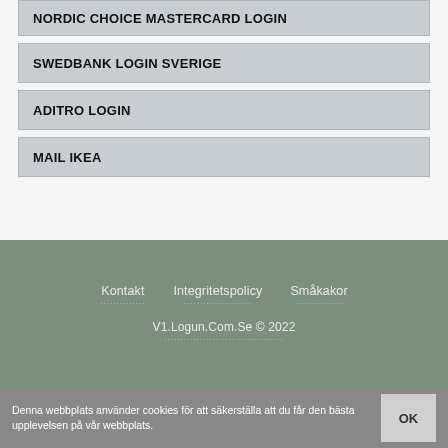NORDIC CHOICE MASTERCARD LOGIN
SWEDBANK LOGIN SVERIGE
ADITRO LOGIN
MAIL IKEA
Kontakt   Integritetspolicy   Småkakor
V1.Logun.Com.Se © 2022
Denna webbplats använder cookies för att säkerställa att du får den bästa upplevelsen på vår webbplats.